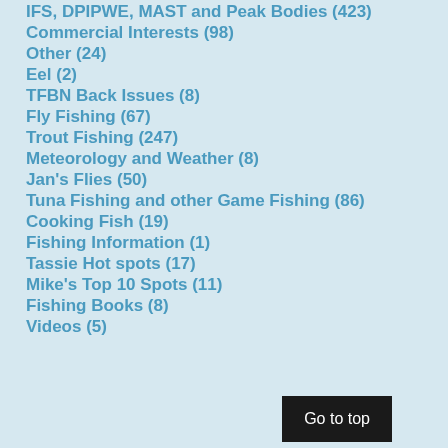IFS, DPIPWE, MAST and Peak Bodies (423)
Commercial Interests (98)
Other (24)
Eel (2)
TFBN Back Issues (8)
Fly Fishing (67)
Trout Fishing (247)
Meteorology and Weather (8)
Jan's Flies (50)
Tuna Fishing and other Game Fishing (86)
Cooking Fish (19)
Fishing Information (1)
Tassie Hot spots (17)
Mike's Top 10 Spots (11)
Fishing Books (8)
Videos (5)
Go to top